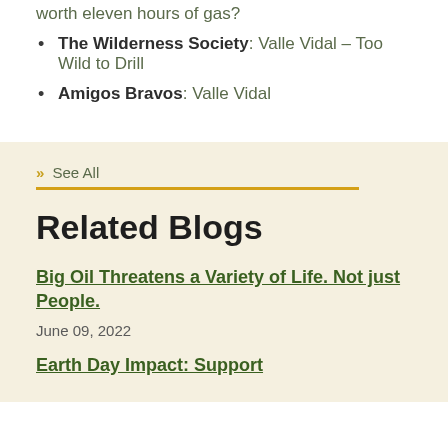worth eleven hours of gas?
The Wilderness Society: Valle Vidal – Too Wild to Drill
Amigos Bravos: Valle Vidal
» See All
Related Blogs
Big Oil Threatens a Variety of Life. Not just People.
June 09, 2022
Earth Day Impact: Support